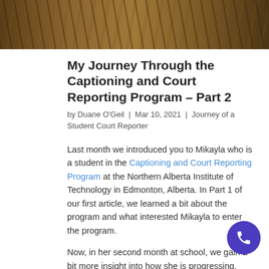[Figure (photo): Aerial or close-up photo of dry grass field, brownish-golden tones, top banner image]
My Journey Through the Captioning and Court Reporting Program – Part 2
by Duane O'Geil | Mar 10, 2021 | Journey of a Student Court Reporter
Last month we introduced you to Mikayla who is a student in the Captioning and Court Reporting Program at the Northern Alberta Institute of Technology in Edmonton, Alberta. In Part 1 of our first article, we learned a bit about the program and what interested Mikayla to enter the program.
Now, in her second month at school, we gain a bit more insight into how she is progressing. Here we go...
1) Learning the steno machine is a big part of